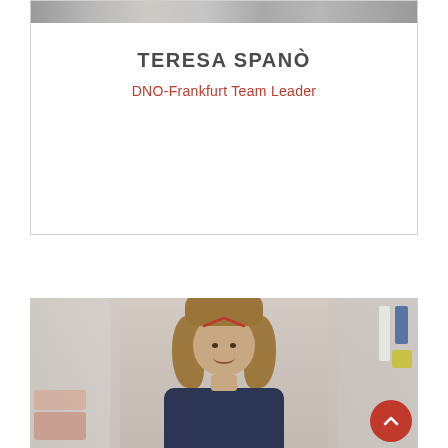[Figure (photo): Top portion of a lab photo showing shelves and equipment in the background]
TERESA SPANÒ
DNO-Frankfurt Team Leader
[Figure (photo): Photo of Teresa Spanò, a young woman with curly brown hair, smiling in a laboratory setting. A red/orange chevron annotation mark is visible on her forehead. Laboratory shelves with bottles and equipment visible in background. A red scroll-to-top button is in the bottom right corner.]